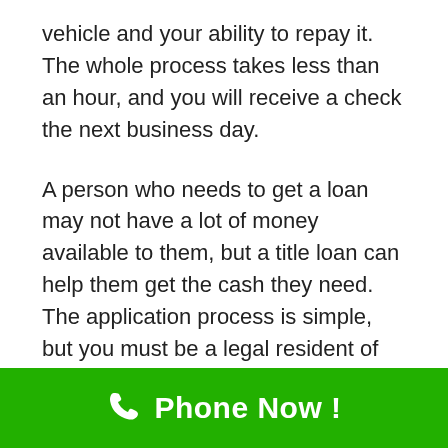vehicle and your ability to repay it. The whole process takes less than an hour, and you will receive a check the next business day.
A person who needs to get a loan may not have a lot of money available to them, but a title loan can help them get the cash they need. The application process is simple, but you must be a legal resident of Mount Shasta and have a stable income. Generally, a person should earn at least $1,000 per month. While people who have poor credit may find it difficult to qualify for a loan, it does not mean they should be turned down.
[Figure (other): Green banner with phone icon and 'Phone Now!' text in white bold font]